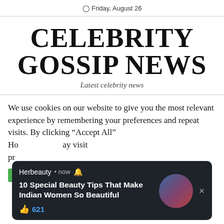Friday, August 26
CELEBRITY GOSSIP NEWS
Latest celebrity news
We use cookies on our website to give you the most relevant experience by remembering your preferences and repeat visits. By clicking "Accept All"... However you may visit Ho... pr...
[Figure (screenshot): Dark notification popup from Herbeauty showing '10 Special Beauty Tips That Make Indian Women So Beautiful' with 621 likes and a circular avatar photo of a woman in blue clothing]